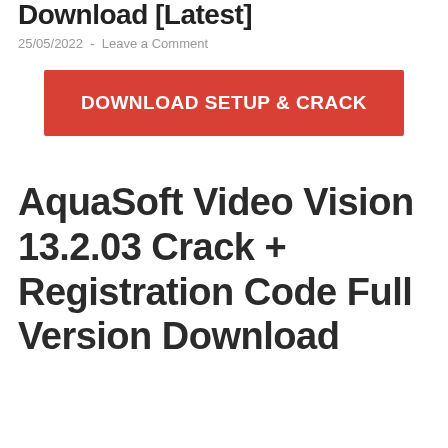Download [Latest]
25/05/2022  -  Leave a Comment
[Figure (other): Red download button with text DOWNLOAD SETUP & CRACK]
AquaSoft Video Vision 13.2.03 Crack + Registration Code Full Version Download